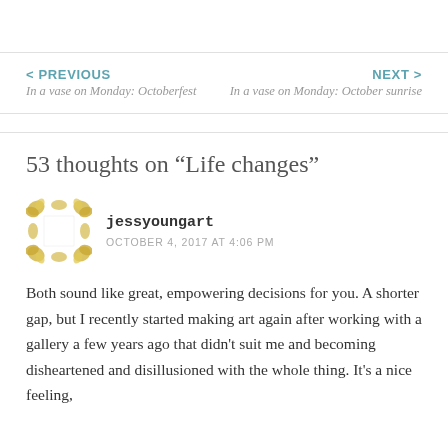< PREVIOUS
In a vase on Monday: Octoberfest
NEXT >
In a vase on Monday: October sunrise
53 thoughts on “Life changes”
[Figure (illustration): Avatar image for user jessyoungart — golden/yellow decorative floral border frame around a white square]
jessyoungart
OCTOBER 4, 2017 AT 4:06 PM
Both sound like great, empowering decisions for you. A shorter gap, but I recently started making art again after working with a gallery a few years ago that didn’t suit me and becoming disheartened and disillusioned with the whole thing. It’s a nice feeling,